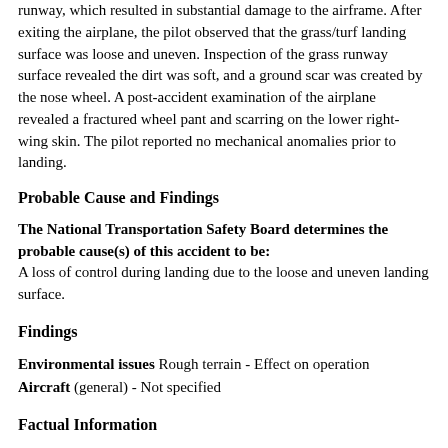runway, which resulted in substantial damage to the airframe. After exiting the airplane, the pilot observed that the grass/turf landing surface was loose and uneven. Inspection of the grass runway surface revealed the dirt was soft, and a ground scar was created by the nose wheel. A post-accident examination of the airplane revealed a fractured wheel pant and scarring on the lower right-wing skin. The pilot reported no mechanical anomalies prior to landing.
Probable Cause and Findings
The National Transportation Safety Board determines the probable cause(s) of this accident to be: A loss of control during landing due to the loose and uneven landing surface.
Findings
Environmental issues Rough terrain - Effect on operation
Aircraft (general) - Not specified
Factual Information